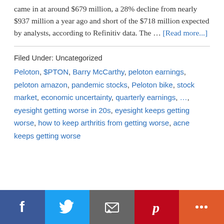came in at around $679 million, a 28% decline from nearly $937 million a year ago and short of the $718 million expected by analysts, according to Refinitiv data. The … [Read more...]
Filed Under: Uncategorized
Peloton, $PTON, Barry McCarthy, peloton earnings, peloton amazon, pandemic stocks, Peloton bike, stock market, economic uncertainty, quarterly earnings, ..., eyesight getting worse in 20s, eyesight keeps getting worse, how to keep arthritis from getting worse, acne keeps getting worse
[Figure (infographic): Social sharing bar with Facebook (blue), Twitter (light blue), Email (grey), Pinterest (red), and More (orange-red) buttons]